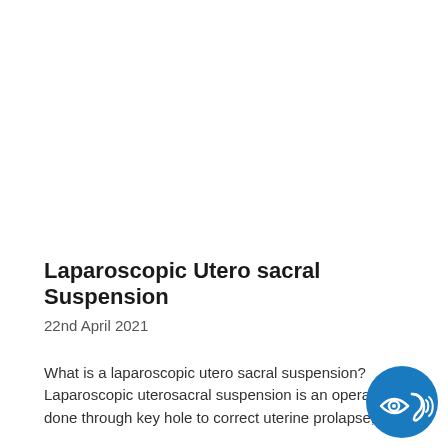Laparoscopic Utero sacral Suspension
22nd April 2021
What is a laparoscopic utero sacral suspension? Laparoscopic uterosacral suspension is an operation done through key hole to correct uterine prolapse,
[Figure (logo): Blue circular badge with white accessibility icons: an eye symbol and an ear/hearing symbol with signal waves, indicating audio-visual accessibility feature]